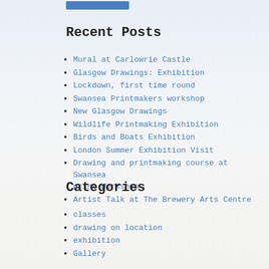Recent Posts
Mural at Carlowrie Castle
Glasgow Drawings: Exhibition
Lockdown, first time round
Swansea Printmakers workshop
New Glasgow Drawings
Wildlife Printmaking Exhibition
Birds and Boats Exhibition
London Summer Exhibition Visit
Drawing and printmaking course at Swansea print Workshop
Artist Talk at The Brewery Arts Centre
Categories
classes
drawing on location
exhibition
Gallery